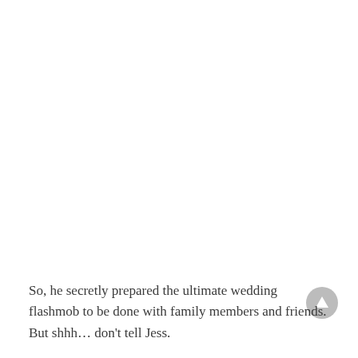So, he secretly prepared the ultimate wedding flashmob to be done with family members and friends. But shhh… don't tell Jess.